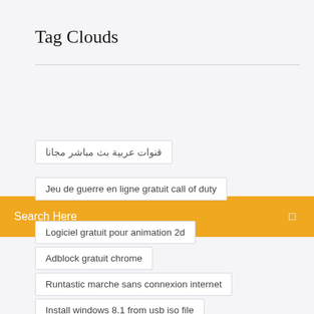Tag Clouds
قنوات عربية بث مباشر مجانا
Search Here
Jeu de guerre en ligne gratuit call of duty
Logiciel gratuit pour animation 2d
Adblock gratuit chrome
Runtastic marche sans connexion internet
Install windows 8.1 from usb iso file